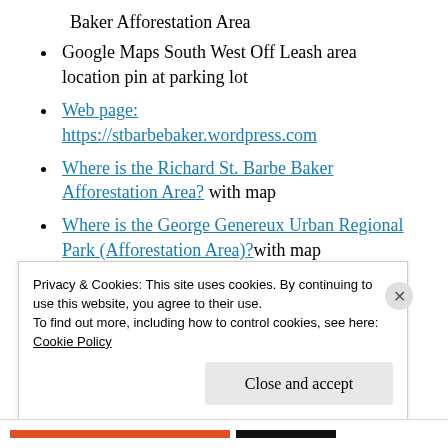Baker Afforestation Area
Google Maps South West Off Leash area location pin at parking lot
Web page: https://stbarbebaker.wordpress.com
Where is the Richard St. Barbe Baker Afforestation Area? with map
Where is the George Genereux Urban Regional Park (Afforestation Area)? with map
Privacy & Cookies: This site uses cookies. By continuing to use this website, you agree to their use.
To find out more, including how to control cookies, see here: Cookie Policy